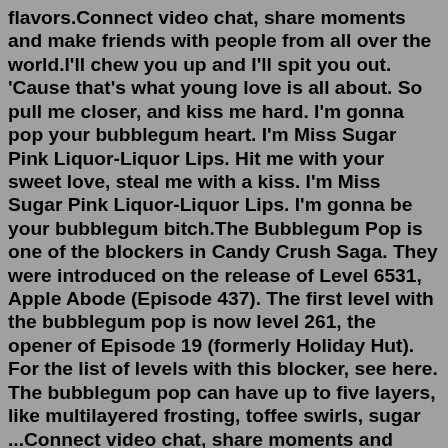flavors.Connect video chat, share moments and make friends with people from all over the world.I'll chew you up and I'll spit you out. 'Cause that's what young love is all about. So pull me closer, and kiss me hard. I'm gonna pop your bubblegum heart. I'm Miss Sugar Pink Liquor-Liquor Lips. Hit me with your sweet love, steal me with a kiss. I'm Miss Sugar Pink Liquor-Liquor Lips. I'm gonna be your bubblegum bitch.The Bubblegum Pop is one of the blockers in Candy Crush Saga. They were introduced on the release of Level 6531, Apple Abode (Episode 437). The first level with the bubblegum pop is now level 261, the opener of Episode 19 (formerly Holiday Hut). For the list of levels with this blocker, see here. The bubblegum pop can have up to five layers, like multilayered frosting, toffee swirls, sugar ...Connect video chat, share moments and make friends with people from all over the world.The importance of Bubblegum and Marceline. Bubblegum is a pink, girly character, an actual princess, positioned as the coolest for the bubblegum to point. But f...